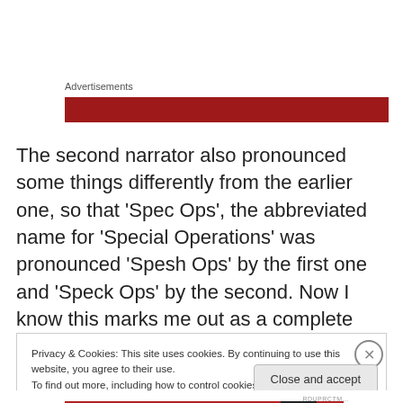Advertisements
[Figure (other): Red advertisement banner placeholder]
The second narrator also pronounced some things differently from the earlier one, so that ‘Spec Ops’, the abbreviated name for ‘Special Operations’ was pronounced ‘Spesh Ops’ by the first one and ‘Speck Ops’ by the second. Now I know this marks me out as a complete pedant, but the lack of consistency bothered me
Privacy & Cookies: This site uses cookies. By continuing to use this website, you agree to their use.
To find out more, including how to control cookies, see here: Cookie Policy
Close and accept